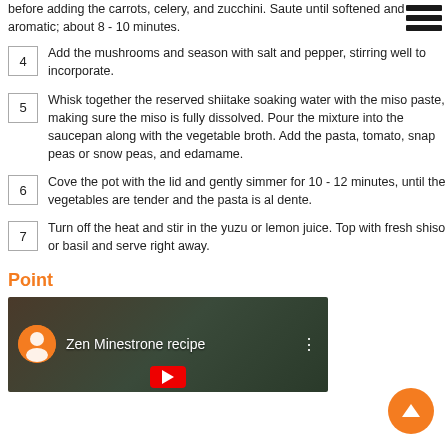before adding the carrots, celery, and zucchini. Saute until softened and aromatic; about 8 - 10 minutes.
4 Add the mushrooms and season with salt and pepper, stirring well to incorporate.
5 Whisk together the reserved shiitake soaking water with the miso paste, making sure the miso is fully dissolved. Pour the mixture into the saucepan along with the vegetable broth. Add the pasta, tomato, snap peas or snow peas, and edamame.
6 Cove the pot with the lid and gently simmer for 10 - 12 minutes, until the vegetables are tender and the pasta is al dente.
7 Turn off the heat and stir in the yuzu or lemon juice. Top with fresh shiso or basil and serve right away.
Point
[Figure (screenshot): Video thumbnail showing 'Zen Minestrone recipe' YouTube video with channel icon and play button]